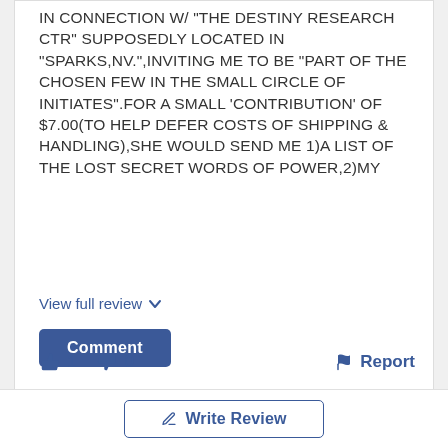IN CONNECTION W/ "THE DESTINY RESEARCH CTR" SUPPOSEDLY LOCATED IN "SPARKS,NV.",INVITING ME TO BE "PART OF THE CHOSEN FEW IN THE SMALL CIRCLE OF INITIATES".FOR A SMALL 'CONTRIBUTION' OF $7.00(TO HELP DEFER COSTS OF SHIPPING & HANDLING),SHE WOULD SEND ME 1)A LIST OF THE LOST SECRET WORDS OF POWER,2)MY
View full review
Comment
1  0  Report
Write Review